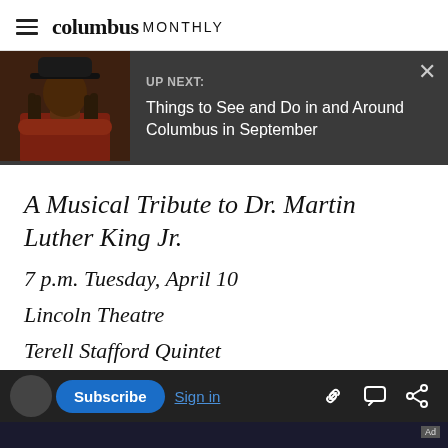columbus MONTHLY
[Figure (screenshot): UP NEXT banner with portrait photo of a person wearing a black hat with dreadlocks, overlaid on dark gray background. Text reads: UP NEXT: Things to See and Do in and Around Columbus in September]
A Musical Tribute to Dr. Martin Luther King Jr.
7 p.m. Tuesday, April 10
Lincoln Theatre
Terell Stafford Quintet
8 p.m. Thursday, April 12
Lincoln Theatre
Subscribe | Sign in